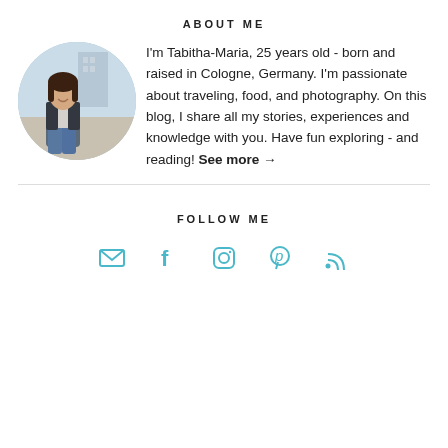ABOUT ME
[Figure (photo): Circular profile photo of a young woman sitting outdoors with a city background]
I'm Tabitha-Maria, 25 years old - born and raised in Cologne, Germany. I'm passionate about traveling, food, and photography. On this blog, I share all my stories, experiences and knowledge with you. Have fun exploring - and reading! See more →
FOLLOW ME
[Figure (infographic): Row of five social media icons: email envelope, Facebook f, Instagram camera, Pinterest p, RSS feed — all in teal/cyan color]